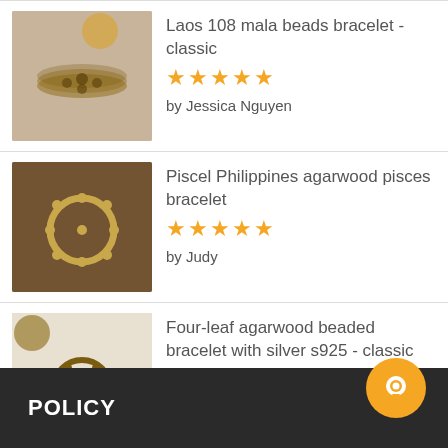Laos 108 mala beads bracelet - classic
★★★★★
by Jessica Nguyen
Piscel Philippines agarwood pisces bracelet
★★★★★
by Judy
Four-leaf agarwood beaded bracelet with silver s925 - classic
★★★★★
by Tracey
POLICY